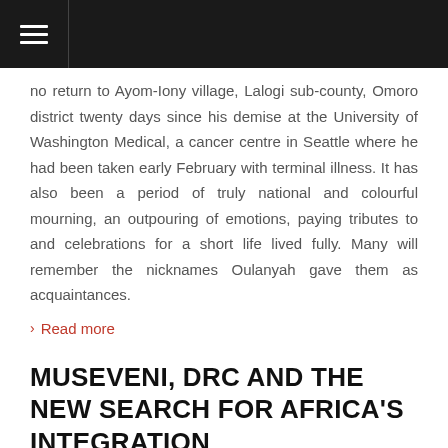☰
no return to Ayom-Iony village, Lalogi sub-county, Omoro district twenty days since his demise at the University of Washington Medical, a cancer centre in Seattle where he had been taken early February with terminal illness. It has also been a period of truly national and colourful mourning, an outpouring of emotions, paying tributes to and celebrations for a short life lived fully. Many will remember the nicknames Oulanyah gave them as acquaintances.
› Read more
MUSEVENI, DRC AND THE NEW SEARCH FOR AFRICA'S INTEGRATION
This week, the Extra-Ordinary Summit of six